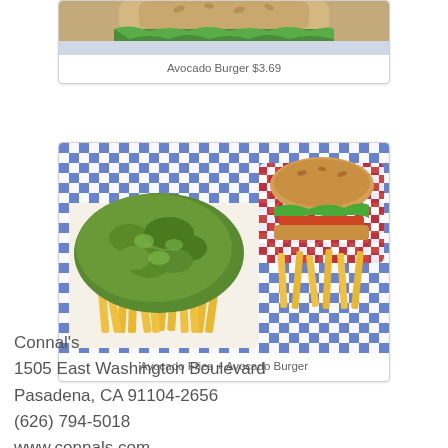[Figure (photo): Close-up photo of an Avocado Burger on a sesame seed bun with lettuce, partially visible at top of card]
Avocado Burger $3.69
[Figure (photo): Photo of Avocado Fries (fries topped with guacamole) and an Avocado Burger in a red and white checkered wrapper, served in blue and white checkered baskets]
Avocado Fries + Avocado Burger
Connal's
1505 East Washington Boulevard
Pasadena, CA 91104-2656
(626) 794-5018
www.connals.com